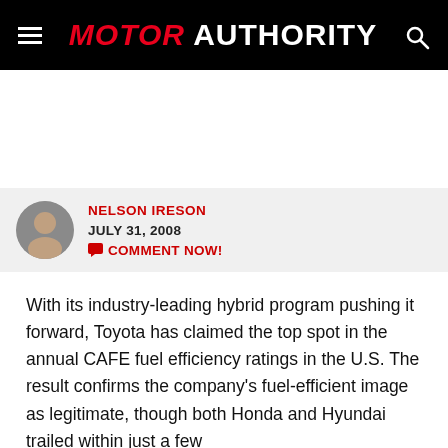MOTOR AUTHORITY
NELSON IRESON
JULY 31, 2008
COMMENT NOW!
With its industry-leading hybrid program pushing it forward, Toyota has claimed the top spot in the annual CAFE fuel efficiency ratings in the U.S. The result confirms the company's fuel-efficient image as legitimate, though both Honda and Hyundai trailed within just a few